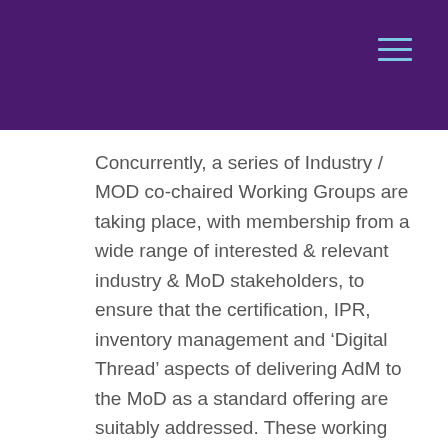Concurrently, a series of Industry / MOD co-chaired Working Groups are taking place, with membership from a wide range of interested & relevant industry & MoD stakeholders, to ensure that the certification, IPR, inventory management and ‘Digital Thread’ aspects of delivering AdM to the MoD as a standard offering are suitably addressed. These working groups (held at volunteered premises every two/three months) provide the opportunity for the joint MoD & Industry AdM community to network and learn from each other, as well as formulate a roadmap for ‘AdM as a service’ implementation within UK Defence.